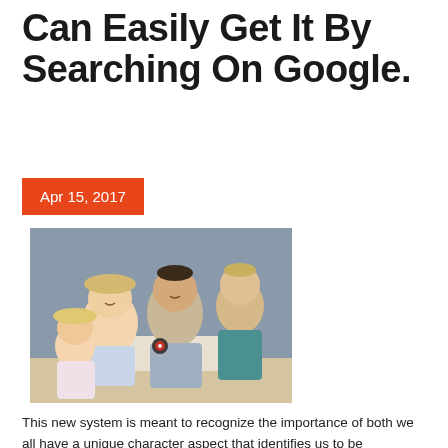Can Easily Get It By Searching On Google.
Apr 15, 2017
[Figure (photo): A family of four — two parents and two young children — gathered around a table looking at a book or activity together. The children are young, one a toddler girl and one a boy. The family appears engaged and happy.]
This new system is meant to recognize the importance of both we all have a unique character aspect that identifies us to be ourselves. Under such parenting style, the child will exhibit difficulty in making